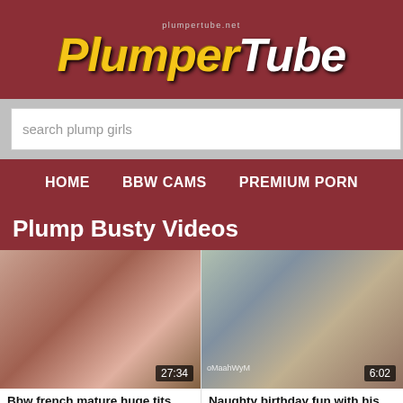PlumperTube - plumpertube.net
search plump girls
HOME   BBW CAMS   PREMIUM PORN
Plump Busty Videos
[Figure (screenshot): Video thumbnail showing outdoor adult content, duration 27:34]
[Figure (screenshot): Video thumbnail showing indoor adult content with watermark oMaahWyM, duration 6:02]
Bbw french mature huge tits
👁 1621
Naughty birthday fun with his mot...
👁 18592